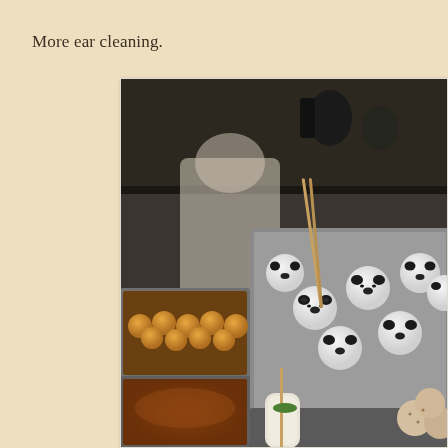More ear cleaning.
[Figure (photo): Close-up photo of a food stall or kitchen counter with several metal trays. The central/right tray contains white round dough balls decorated with black spots to look like panda faces, with chopsticks inserted as skewers. The lower left tray contains golden fried balls (likely takoyaki or similar). Another tray in the foreground right shows skewered items and breaded balls. A person in a white shirt is partially visible in the background behind the trays. The kitchen setting has dark shelving in the background.]